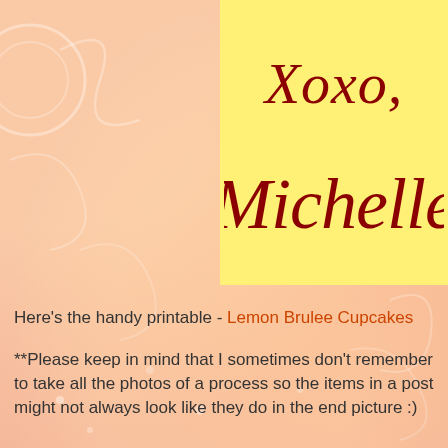[Figure (illustration): Blog post closing signature with 'Xoxo, Michelle' in dark red cursive script on a yellow background, set against a peach/pink decorative swirl background]
Here's the handy printable - Lemon Brulee Cupcakes
**Please keep in mind that I sometimes don't remember to take all the photos of a process so the items in a post might not always look like they do in the end picture :)
Michelle Day at 5:00 AM
Share
5 comments:
Sheena @ Hot Eats and Cool Reads October 19, 2013 at